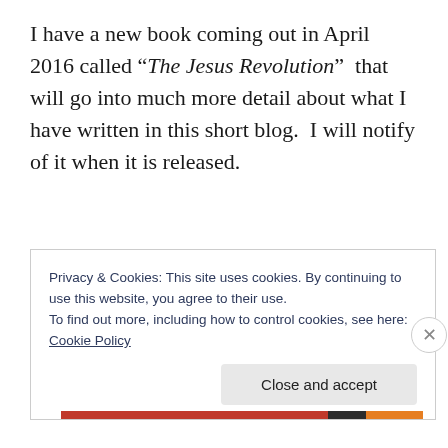I have a new book coming out in April 2016 called “The Jesus Revolution” that will go into much more detail about what I have written in this short blog.  I will notify of it when it is released.
Privacy & Cookies: This site uses cookies. By continuing to use this website, you agree to their use.
To find out more, including how to control cookies, see here: Cookie Policy